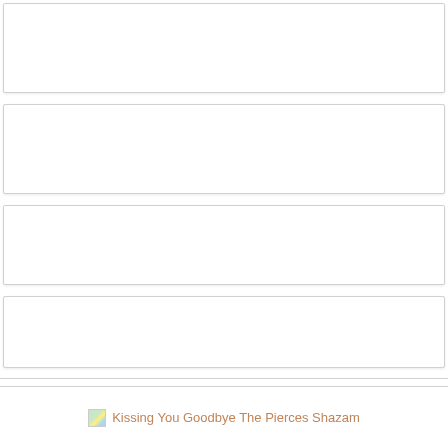[Figure (other): Empty white row block 1 with light gray border]
[Figure (other): Empty white row block 2 with light gray border]
[Figure (other): Empty white row block 3 with light gray border]
[Figure (other): Empty white row block 4 with light gray border]
[Figure (other): Empty white row block 5 with light gray border]
[Figure (other): Empty white row block 6 with light gray border]
[Figure (other): Empty white row block 7 with light gray border]
Kissing You Goodbye The Pierces Shazam